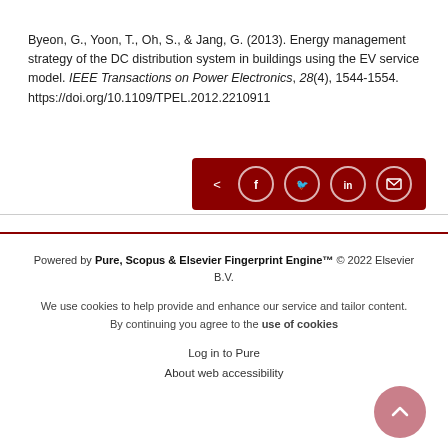Byeon, G., Yoon, T., Oh, S., & Jang, G. (2013). Energy management strategy of the DC distribution system in buildings using the EV service model. IEEE Transactions on Power Electronics, 28(4), 1544-1554. https://doi.org/10.1109/TPEL.2012.2210911
[Figure (other): Dark red share bar with share, Facebook, Twitter, LinkedIn, and email icons]
Powered by Pure, Scopus & Elsevier Fingerprint Engine™ © 2022 Elsevier B.V. We use cookies to help provide and enhance our service and tailor content. By continuing you agree to the use of cookies Log in to Pure About web accessibility